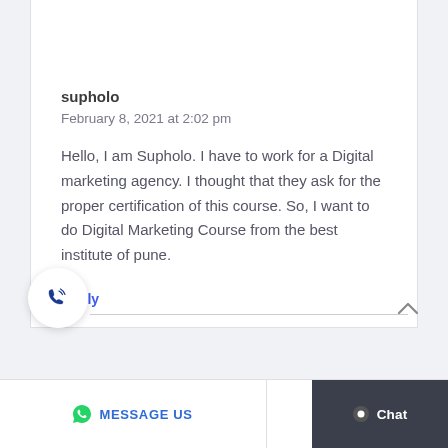supholo
February 8, 2021 at 2:02 pm
Hello, I am Supholo. I have to work for a Digital marketing agency. I thought that they ask for the proper certification of this course. So, I want to do Digital Marketing Course from the best institute of pune.
Reply
MESSAGE US   WRITE U   Chat